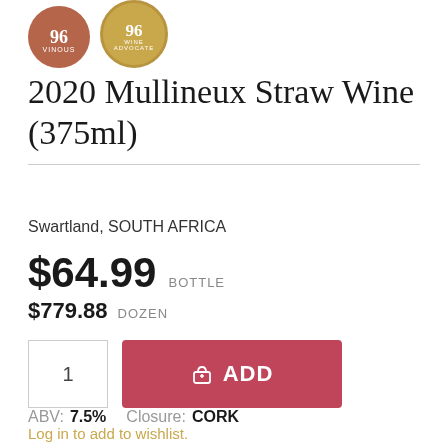[Figure (illustration): Two circular rating badges: a terracotta/brown badge labeled VINOUS on the left, and a gold badge labeled WINE ADVOCATE on the right. Both show wine scores (partially cropped at top).]
2020 Mullineux Straw Wine (375ml)
Swartland, SOUTH AFRICA
$64.99 BOTTLE
$779.88 DOZEN
1  ADD
Log in to add to wishlist.
ABV:  7.5%   Closure:  CORK